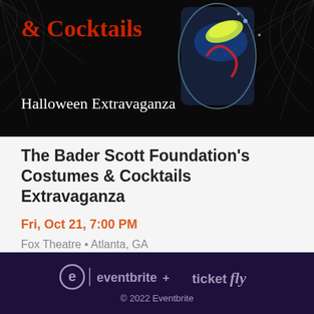[Figure (photo): Dark Halloween-themed banner with red and white text '& Cocktails' and 'Halloween Extravaganza', colorful cocktail drink image on black background with spider web decorations]
The Bader Scott Foundation's Costumes & Cocktails Extravaganza
Fri, Oct 21, 7:00 PM
Fox Theatre • Atlanta, GA
$100
eventbrite + ticketfly © 2022 Eventbrite